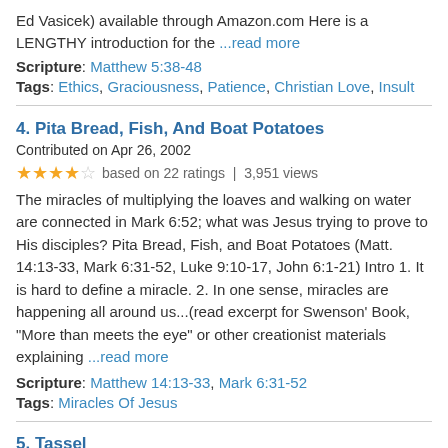Ed Vasicek) available through Amazon.com Here is a LENGTHY introduction for the ...read more
Scripture: Matthew 5:38-48
Tags: Ethics, Graciousness, Patience, Christian Love, Insult
4. Pita Bread, Fish, And Boat Potatoes
Contributed on Apr 26, 2002
3.5 stars based on 22 ratings | 3,951 views
The miracles of multiplying the loaves and walking on water are connected in Mark 6:52; what was Jesus trying to prove to His disciples? Pita Bread, Fish, and Boat Potatoes (Matt. 14:13-33, Mark 6:31-52, Luke 9:10-17, John 6:1-21) Intro 1. It is hard to define a miracle. 2. In one sense, miracles are happening all around us...(read excerpt for Swenson' Book, "More than meets the eye" or other creationist materials explaining ...read more
Scripture: Matthew 14:13-33, Mark 6:31-52
Tags: Miracles Of Jesus
5. Tassel
Contributed on Apr 26, 2002